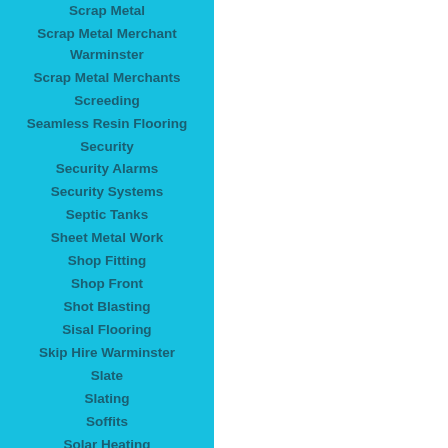Scrap Metal
Scrap Metal Merchant Warminster
Scrap Metal Merchants
Screeding
Seamless Resin Flooring
Security
Security Alarms
Security Systems
Septic Tanks
Sheet Metal Work
Shop Fitting
Shop Front
Shot Blasting
Sisal Flooring
Skip Hire Warminster
Slate
Slating
Soffits
Solar Heating
Solar Panel
Staircases
Stone Cleaning Warminster